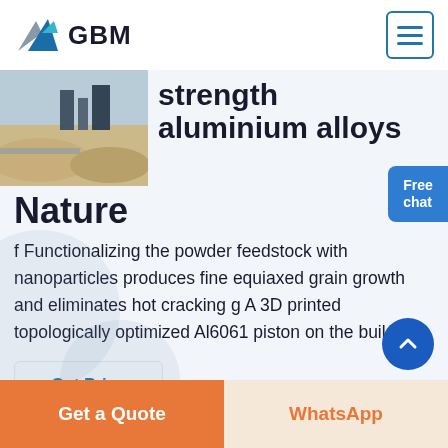GBM
[Figure (photo): Industrial site with construction/mining equipment and earthen mounds]
strength aluminium alloys
Nature
f Functionalizing the powder feedstock with nanoparticles produces fine equiaxed grain growth and eliminates hot cracking g A 3D printed topologically optimized Al6061 piston on the build
Get Price
Free chat
Get a Quote
WhatsApp